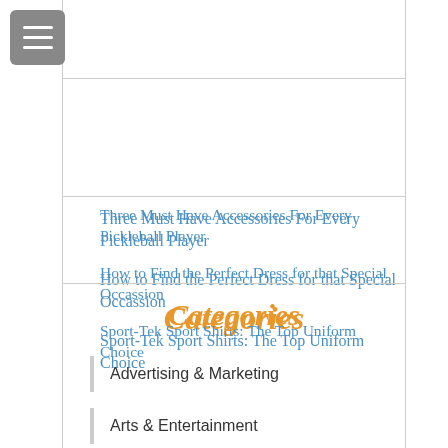[Figure (other): Hamburger menu button (three horizontal lines) on grey rounded square background]
Three Must Have Accessories For Every Pickleball Player
How to Find the Perfect Dress for that Special Occassion
Sport-Tek Sport Shirts: The Top Uniform Choice
Categories
Advertising & Marketing
Arts & Entertainment